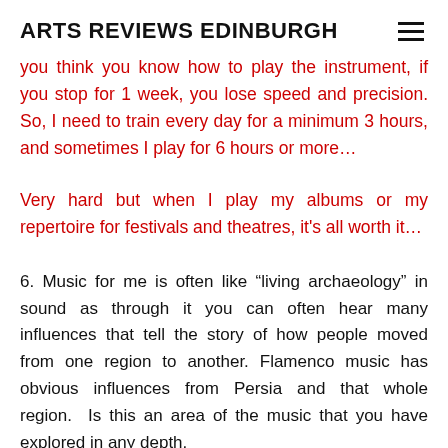ARTS REVIEWS EDINBURGH
you think you know how to play the instrument, if you stop for 1 week, you lose speed and precision. So, I need to train every day for a minimum 3 hours, and sometimes I play for 6 hours or more…
Very hard but when I play my albums or my repertoire for festivals and theatres, it's all worth it…
6. Music for me is often like “living archaeology” in sound as through it you can often hear many influences that tell the story of how people moved from one region to another. Flamenco music has obvious influences from Persia and that whole region.  Is this an area of the music that you have explored in any depth.